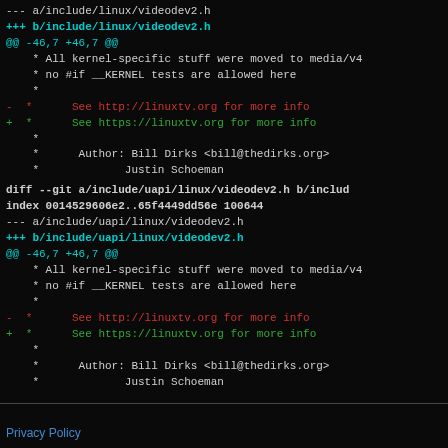--- a/include/linux/videodev2.h
+++ b/include/linux/videodev2.h
@@ -46,7 +46,7 @@
     * All kernel-specific stuff were moved to media/v4
     * no #if __KERNEL tests are allowed here
     *
-  *      See http://linuxtv.org for more info
+  *      See https://linuxtv.org for more info
     *
     *      Author: Bill Dirks <bill@thedirks.org>
     *             Justin Schoeman

diff --git a/include/uapi/linux/videodev2.h b/includ
index 0014529606e2..65f4449dd56e 100644
--- a/include/uapi/linux/videodev2.h
+++ b/include/uapi/linux/videodev2.h
@@ -46,7 +46,7 @@
     * All kernel-specific stuff were moved to media/v4
     * no #if __KERNEL tests are allowed here
     *
-  *      See http://linuxtv.org for more info
+  *      See https://linuxtv.org for more info
     *
     *      Author: Bill Dirks <bill@thedirks.org>
     *             Justin Schoeman
Privacy Policy